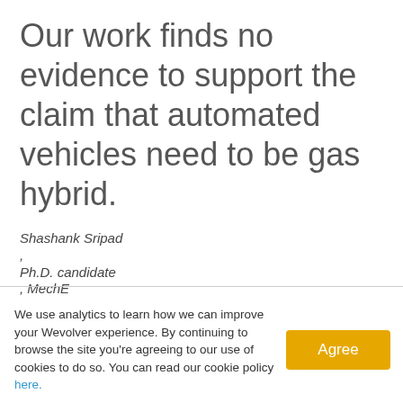Our work finds no evidence to support the claim that automated vehicles need to be gas hybrid.
Shashank Sripad , Ph.D. candidate , MechE
We use analytics to learn how we can improve your Wevolver experience. By continuing to browse the site you're agreeing to our use of cookies to do so. You can read our cookie policy here.